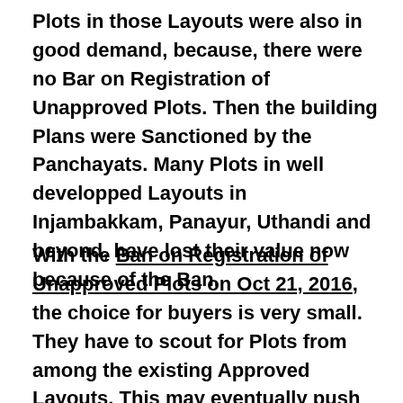Plots in those Layouts were also in good demand, because, there were no Bar on Registration of Unapproved Plots. Then the building Plans were Sanctioned by the Panchayats. Many Plots in well developped Layouts in Injambakkam, Panayur, Uthandi and beyond, have lost their value now because of the Ban.
With the Ban on Registration of Unapproved Plots on Oct 21, 2016, the choice for buyers is very small. They have to scout for Plots from among the existing Approved Layouts. This may eventually push up the prices further, once the markets get the momentum. Already there are signs for it.